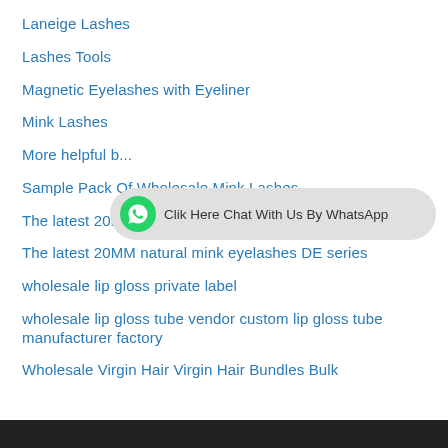Laneige Lashes
Lashes Tools
Magnetic Eyelashes with Eyeliner
Mink Lashes
[Figure (other): WhatsApp chat button overlay with green WhatsApp logo icon and text: Clik Here Chat With Us By WhatsApp]
More helpful b...
Sample Pack Of Wholesale Mink Lashes
The latest 20mm mink eyelashes
The latest 20MM natural mink eyelashes DE series
wholesale lip gloss private label
wholesale lip gloss tube vendor custom lip gloss tube manufacturer factory
Wholesale Virgin Hair Virgin Hair Bundles Bulk